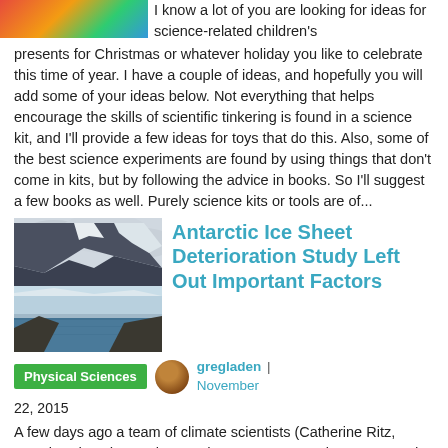[Figure (photo): Partial colorful image at top left corner (Christmas science gifts themed)]
I know a lot of you are looking for ideas for science-related children's presents for Christmas or whatever holiday you like to celebrate this time of year. I have a couple of ideas, and hopefully you will add some of your ideas below. Not everything that helps encourage the skills of scientific tinkering is found in a science kit, and I'll provide a few ideas for toys that do this. Also, some of the best science experiments are found by using things that don't come in kits, but by following the advice in books. So I'll suggest a few books as well. Purely science kits or tools are of...
[Figure (photo): Photograph of Antarctic ice sheet — snowy mountains with glaciers and dark ocean water below]
Antarctic Ice Sheet Deterioration Study Left Out Important Factors
Physical Sciences
gregladen | November 22, 2015
A few days ago a team of climate scientists (Catherine Ritz, Tamsin Edwards, Gaël Durand, Antony Payne, Vincent Revaud